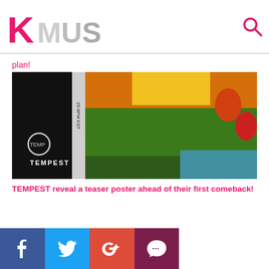KMUSIC
plan!
[Figure (photo): A teaser poster image showing a partial view of a TV screen or monitor displaying a colorful scene with green grass and orange sky. The left side shows text including 'TEMPEST' and '29 6PM KST' on a dark background.]
TEMPEST reveal a teaser poster ahead of their first comeback!